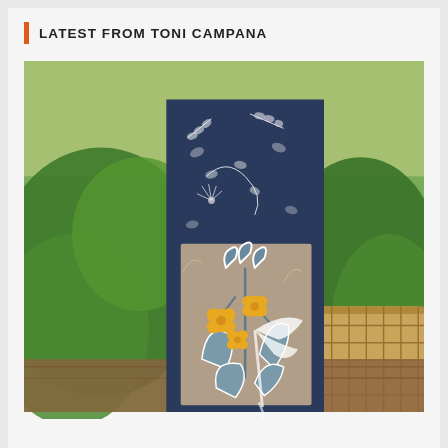LATEST FROM TONI CAMPANA
[Figure (photo): A handmade craft card featuring navy blue paper with white floral/botanical stamp designs on top, layered with a tan/beige panel showing blue-grey flower and leaf illustrations with white outlines, and bright yellow die-cut flowers as accents. A white sheer ribbon is tied around the card. The card is displayed in front of green ivy plants and a wicker basket on a wooden surface.]